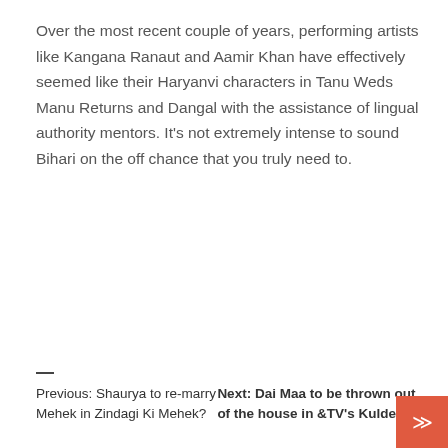Over the most recent couple of years, performing artists like Kangana Ranaut and Aamir Khan have effectively seemed like their Haryanvi characters in Tanu Weds Manu Returns and Dangal with the assistance of lingual authority mentors. It's not extremely intense to sound Bihari on the off chance that you truly need to.
Previous: Shaurya to re-marry Mehek in Zindagi Ki Mehek?
Next: Dai Maa to be thrown out of the house in &TV's Kuldeepak
Comments (0)
Leave a Reply
Your email address will not be published. Required fields are marked *
Comment